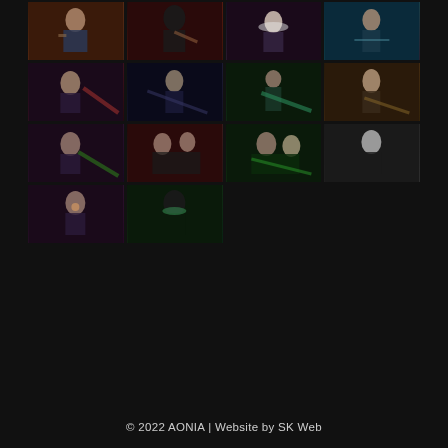[Figure (photo): Grid of 14 concert/band performance photos showing musicians playing guitars, singing, and performing on stage with colored lighting. Photos arranged in a 4x4 grid with the last row having only 2 photos.]
© 2022 AONIA | Website by SK Web